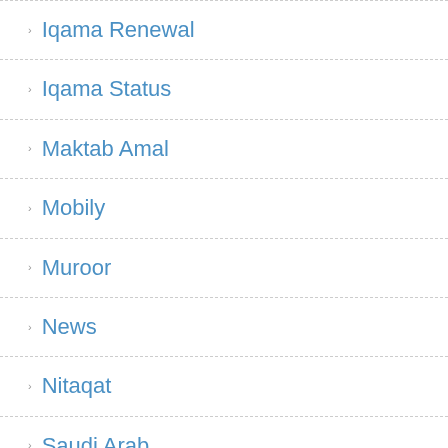Iqama Renewal
Iqama Status
Maktab Amal
Mobily
Muroor
News
Nitaqat
Saudi Arab
Saudi News